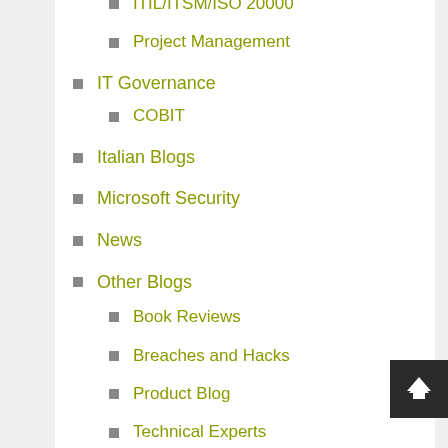ITIL/ITSM/ISO 20000
Project Management
IT Governance
COBIT
Italian Blogs
Microsoft Security
News
Other Blogs
Book Reviews
Breaches and Hacks
Product Blog
Technical Experts
PCI DSS
Penetration Testing
Phishing
Ransomware